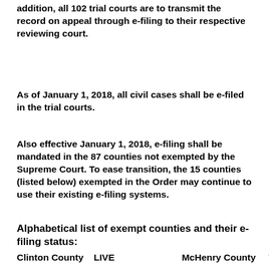addition, all 102 trial courts are to transmit the record on appeal through e-filing to their respective reviewing court.
As of January 1, 2018, all civil cases shall be e-filed in the trial courts.
Also effective January 1, 2018, e-filing shall be mandated in the 87 counties not exempted by the Supreme Court. To ease transition, the 15 counties (listed below) exempted in the Order may continue to use their existing e-filing systems.
Alphabetical list of exempt counties and their e-filing status:
Clinton County    LIVE                              McHenry County    TBD